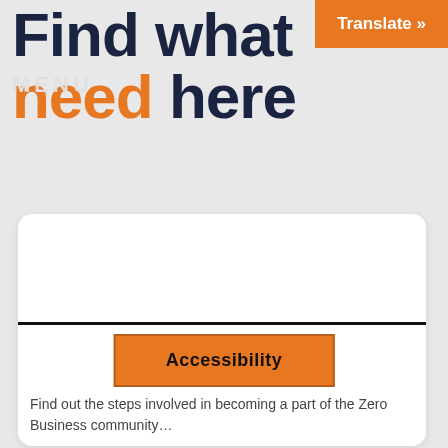Find what need here
Translate »
MENU
[Figure (screenshot): White rounded card with a horizontal black divider, an orange 'Accessibility' button, and partial text below]
Accessibility
Find out the steps involved in becoming a part of the Zero Business community...